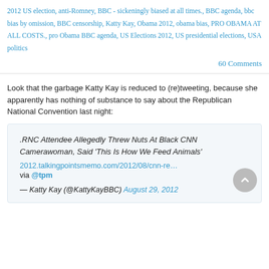2012 US election, anti-Romney, BBC - sickeningly biased at all times., BBC agenda, bbc bias by omission, BBC censorship, Katty Kay, Obama 2012, obama bias, PRO OBAMA AT ALL COSTS., pro Obama BBC agenda, US Elections 2012, US presidential elections, USA politics
60 Comments
Look that the garbage Katty Kay is reduced to (re)tweeting, because she apparently has nothing of substance to say about the Republican National Convention last night:
[Figure (screenshot): Embedded tweet box showing: headline '.RNC Attendee Allegedly Threw Nuts At Black CNN Camerawoman, Said ‘This Is How We Feed Animals’', link '2012.talkingpointsmemo.com/2012/08/cnn-re…', 'via @tpm', attribution '— Katty Kay (@KattyKayBBC) August 29, 2012']